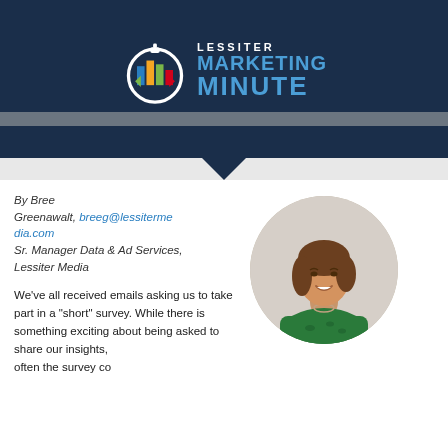[Figure (logo): Lessiter Marketing Minute logo with stopwatch icon and colored bar chart graphic on dark navy background]
By Bree Greenawalt, breeg@lessitermedia.com
Sr. Manager Data & Ad Services, Lessiter Media
[Figure (photo): Circular headshot photo of Bree Greenawalt, a woman with short brown hair, smiling, wearing a green patterned top]
We've all received emails asking us to take part in a "short" survey. While there is something exciting about being asked to share our insights, often the survey completes with more questions than all the time and